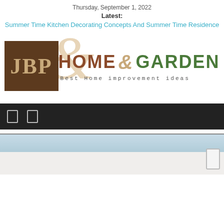Thursday, September 1, 2022
Latest:
Summer Time Kitchen Decorating Concepts And Summer Time Residence
[Figure (logo): JBP Home & Garden logo with brown JBP box and Home & Garden text with decorative ampersand. Tagline: Best Home improvement ideas]
[Figure (screenshot): Dark navigation bar with two rectangular icon placeholders]
[Figure (photo): Partial exterior photo showing sky and building with scroll button on right side]